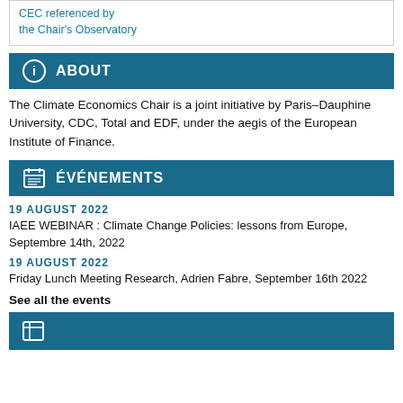CEC referenced by the Chair's Observatory
ABOUT
The Climate Economics Chair is a joint initiative by Paris–Dauphine University, CDC, Total and EDF, under the aegis of the European Institute of Finance.
ÉVÉNEMENTS
19 AUGUST 2022
IAEE WEBINAR : Climate Change Policies: lessons from Europe, Septembre 14th, 2022
19 AUGUST 2022
Friday Lunch Meeting Research, Adrien Fabre, September 16th 2022
See all the events